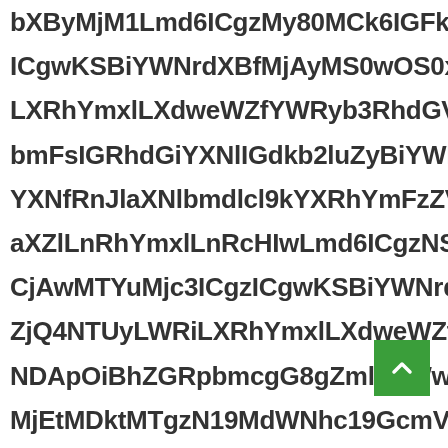bXByMjM1Lmd6ICgzMy80MCk6IGFkZGluZyB0byBmaW5hbCBsaXN0 ICgwKSBiYWNrdXBfMjAyMS0wOS0xMDM3X0 LXRhYmxlLXdweWZfYWRyb3RhdGVfc3RhdHMudGl bmFsIGRhdGiYXNlIGdkb GFiYXNlX1bXByMjM1Lmd6ICgzNS80MCk6IGFkZGluZyB0byBmaW5hb CjAwMTYuMjc3ICgzICgwKSBiYWNrdXBfMjAyMS0wOS0x ZjQ4NTUyLWRiLXRhYmxlLXdweWZfYWRyb3RhdGVfc3RhdGV NDApOiBhZGRpbmcgG8gZmluYWwgbGlzdCBhc2 MjEtMDktMTgzN19MdWNhc19GcmVlbWFuX2 cm90YXRlX3RyYWNrZXIudGibGUudGd1wcjI2ODUu IGRhdGiYXNlIGdkb2luZyBiYWNrdXBfMjAyMS0w RnJlaXNlbmdlcl9kYXRhYmFzZV9ibmFtZV9 LXRhYmxlLXdweWZfYWRyb3RhdGVfc3RhdGVfc Lmd6ICgzOC80MCk6IGFkZGluZyB0byBCmaW5hb YWNrdXBfMjAyMS0wOS0yNS0xODU2X0 LXdweWZfYWRyb3RhdGVfc3RhdGVfc2NvcmVfY bCBkYXRhYmFzZV9oaW50c19zdGF0c18x
[Figure (other): Green scroll-to-top button with upward chevron arrow icon]